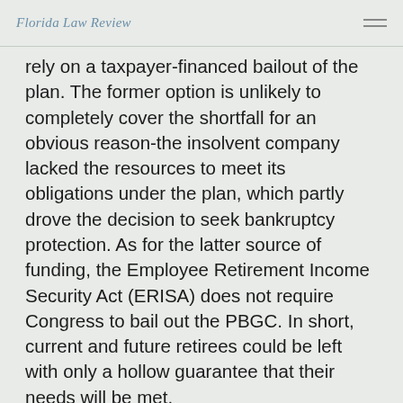Florida Law Review
rely on a taxpayer-financed bailout of the plan. The former option is unlikely to completely cover the shortfall for an obvious reason-the insolvent company lacked the resources to meet its obligations under the plan, which partly drove the decision to seek bankruptcy protection. As for the latter source of funding, the Employee Retirement Income Security Act (ERISA) does not require Congress to bail out the PBGC. In short, current and future retirees could be left with only a hollow guarantee that their needs will be met.
While the PBGC is currently able to withstand the impact of some large plan terminations, the increasing frequency of distressed plan terminations threatens the overall solvency